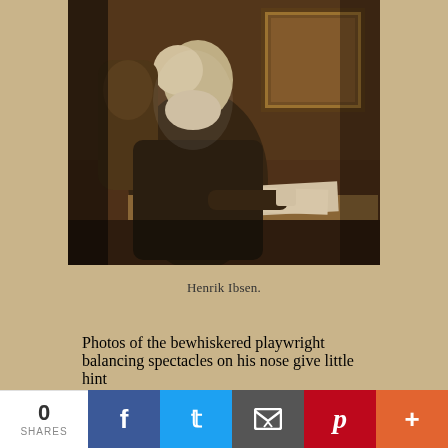[Figure (photo): Sepia-toned historical photograph of Henrik Ibsen, an elderly man with a white beard, sitting at a desk with papers, with an ornate framed picture visible behind him.]
Henrik Ibsen.
Photos of the bewhiskered playwright balancing spectacles on his nose give little hint